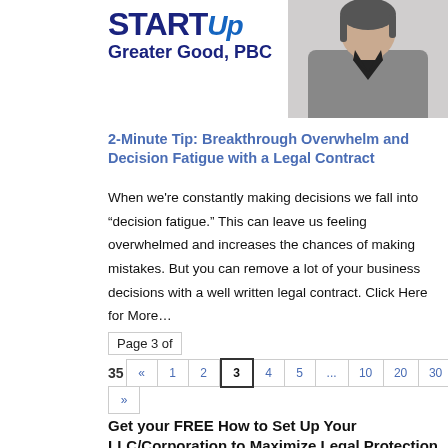[Figure (photo): Person in grey sweater, cropped headshot in upper right corner]
STARTUp Greater Good, PBC
2-Minute Tip: Breakthrough Overwhelm and Decision Fatigue with a Legal Contract
When we're constantly making decisions we fall into “decision fatigue.” This can leave us feeling overwhelmed and increases the chances of making mistakes. But you can remove a lot of your business decisions with a well written legal contract. Click Here for More...
Page 3 of 35
« 1 2 3 4 5 ... 10 20 30 ... » Last »
Get your FREE How to Set Up Your LLC/Corporation to Maximize Legal Protection